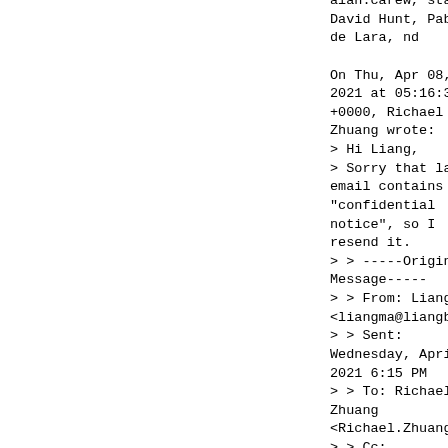alan.carew, stable, David Hunt, Pablo de Lara, nd

On Thu, Apr 08, 2021 at 05:16:34AM +0000, Richael Zhuang wrote:
> Hi Liang,
> Sorry that last email contains "confidential notice", so I resend it.
> > -----Original Message-----
> > From: Liang Ma <liangma@liangbit.com
> > Sent: Wednesday, April 7, 2021 6:15 PM
> > To: Richael Zhuang <Richael.Zhuang@arm.c
> > Cc: dev@dpdk.org; alan.carew@intel.com; stable@dpdk.org; David Hunt
> >